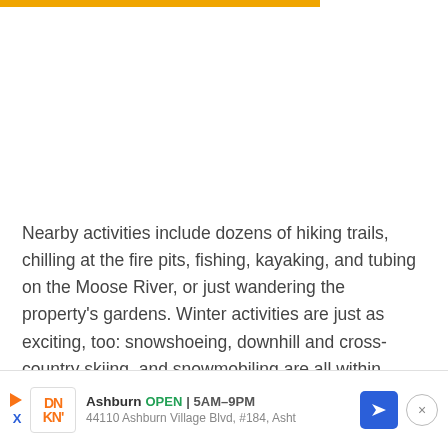[Figure (other): Orange/gold horizontal bar at top of page]
Nearby activities include dozens of hiking trails, chilling at the fire pits, fishing, kayaking, and tubing on the Moose River, or just wandering the property's gardens. Winter activities are just as exciting, too: snowshoeing, downhill and cross-country skiing, and snowmobiling are all within reach. Pinch yourself – you're finally relaxed.
[Figure (screenshot): Advertisement banner for Dunkin' Donuts in Ashburn. Shows logo, OPEN 5AM-9PM, address: 44110 Ashburn Village Blvd, #184, Asht, navigation arrow icon, and close button.]